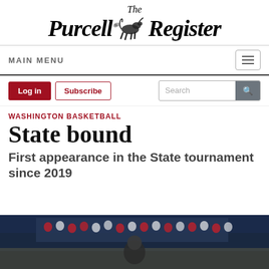The Purcell Register
MAIN MENU
WASHINGTON BASKETBALL
State bound
First appearance in the State tournament since 2019
[Figure (photo): Basketball game photo showing players and spectators in a gymnasium with blue and red colors]